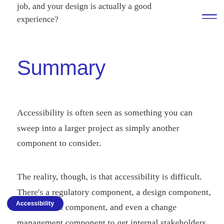job, and your design is actually a good experience?
Summary
Accessibility is often seen as something you can sweep into a larger project as simply another component to consider.
The reality, though, is that accessibility is difficult. There's a regulatory component, a design component, [manage]ment component, and even a change management component to get internal stakeholders
Accessibility